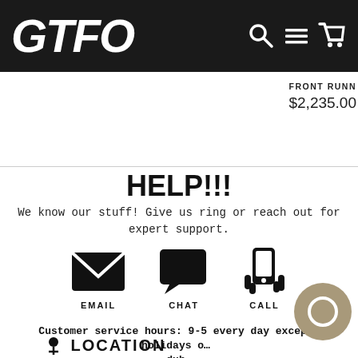GTFO
FRONT RUNN…
$2,235.00
HELP!!!
We know our stuff! Give us ring or reach out for expert support.
[Figure (illustration): Three icons: envelope (EMAIL), speech bubble (CHAT), hand holding phone (CALL)]
Customer service hours: 9-5 every day except holidays o… duh
LOCATION